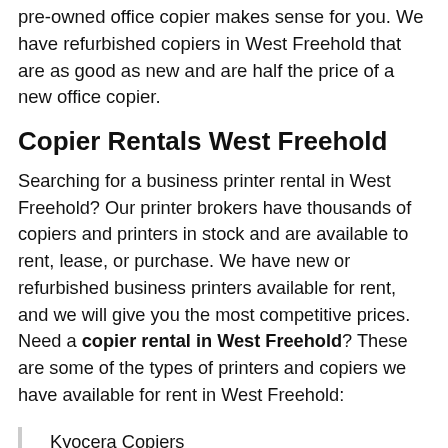pre-owned office copier makes sense for you. We have refurbished copiers in West Freehold that are as good as new and are half the price of a new office copier.
Copier Rentals West Freehold
Searching for a business printer rental in West Freehold? Our printer brokers have thousands of copiers and printers in stock and are available to rent, lease, or purchase. We have new or refurbished business printers available for rent, and we will give you the most competitive prices. Need a copier rental in West Freehold? These are some of the types of printers and copiers we have available for rent in West Freehold:
Kyocera Copiers